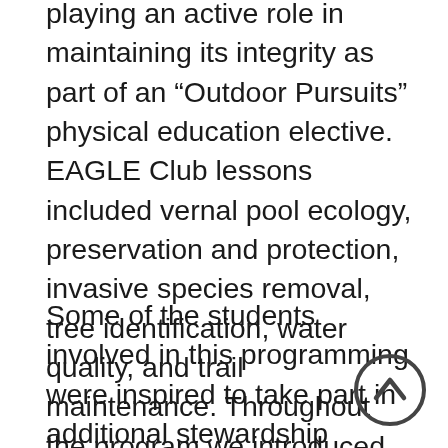playing an active role in maintaining its integrity as part of an “Outdoor Pursuits” physical education elective. EAGLE Club lessons included vernal pool ecology, preservation and protection, invasive species removal, tree identification, water quality, and trail maintenance. Throughout the program we introduced concepts of environmental stewardship and related them back to youths’ daily lives.
Some of the students involved in this programming were inspired to take part in additional stewardship projects Eagle Eye offered in the Lawrence Woods section of the Fells when school was out in June. During